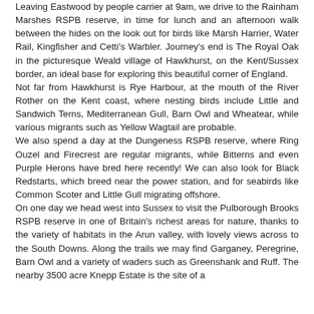Leaving Eastwood by people carrier at 9am, we drive to the Rainham Marshes RSPB reserve, in time for lunch and an afternoon walk between the hides on the look out for birds like Marsh Harrier, Water Rail, Kingfisher and Cetti's Warbler. Journey's end is The Royal Oak in the picturesque Weald village of Hawkhurst, on the Kent/Sussex border, an ideal base for exploring this beautiful corner of England. Not far from Hawkhurst is Rye Harbour, at the mouth of the River Rother on the Kent coast, where nesting birds include Little and Sandwich Terns, Mediterranean Gull, Barn Owl and Wheatear, while various migrants such as Yellow Wagtail are probable. We also spend a day at the Dungeness RSPB reserve, where Ring Ouzel and Firecrest are regular migrants, while Bitterns and even Purple Herons have bred here recently! We can also look for Black Redstarts, which breed near the power station, and for seabirds like Common Scoter and Little Gull migrating offshore. On one day we head west into Sussex to visit the Pulborough Brooks RSPB reserve in one of Britain's richest areas for nature, thanks to the variety of habitats in the Arun valley, with lovely views across to the South Downs. Along the trails we may find Garganey, Peregrine, Barn Owl and a variety of waders such as Greenshank and Ruff. The nearby 3500 acre Knepp Estate is the site of a